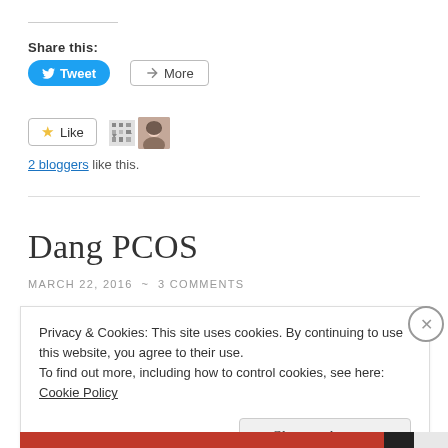Share this:
[Figure (screenshot): Tweet button (blue rounded) and More button (outlined)]
[Figure (screenshot): Like button with star icon, blogger avatars, and '2 bloggers like this.' text]
Dang PCOS
MARCH 22, 2016 ~ 3 COMMENTS
Privacy & Cookies: This site uses cookies. By continuing to use this website, you agree to their use.
To find out more, including how to control cookies, see here: Cookie Policy
Close and accept